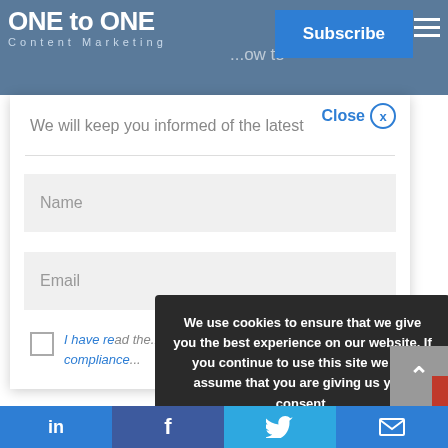ONE to ONE - Subscribe modal page with cookie consent
[Figure (screenshot): ONE to ONE logo in white text on steel blue background header]
Subscribe
Close
We will keep you informed of the latest news
Name
Email
I have read the... GDPR compliance...
We use cookies to ensure that we give you the best experience on our website. If you continue to use this site we will assume that you are giving us your consent. Read our cookies policy
I ACCEPT
LinkedIn | Facebook | Twitter | Email